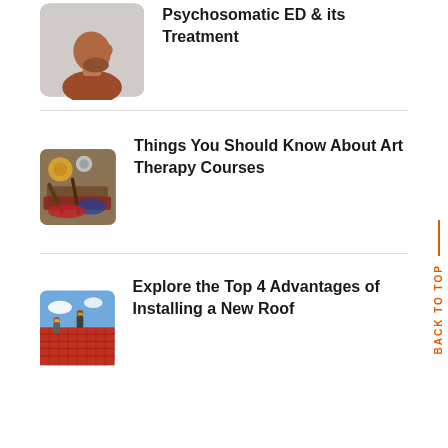[Figure (photo): Man tilting head back against grey background]
Psychosomatic ED & its Treatment
[Figure (photo): Art supplies: paint palettes, brushes, colorful mess]
Things You Should Know About Art Therapy Courses
[Figure (photo): Workers installing red roof tiles on a building]
Explore the Top 4 Advantages of Installing a New Roof